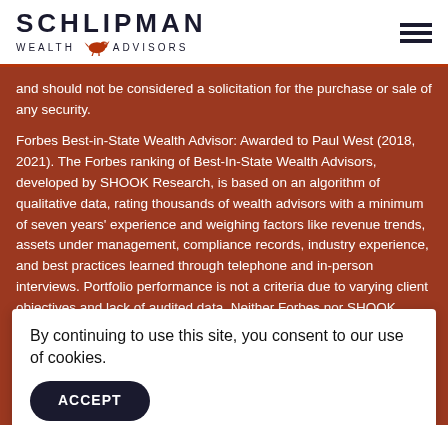SCHLIPMAN WEALTH ADVISORS
and should not be considered a solicitation for the purchase or sale of any security.

Forbes Best-in-State Wealth Advisor: Awarded to Paul West (2018, 2021). The Forbes ranking of Best-In-State Wealth Advisors, developed by SHOOK Research, is based on an algorithm of qualitative data, rating thousands of wealth advisors with a minimum of seven years' experience and weighing factors like revenue trends, assets under management, compliance records, industry experience, and best practices learned through telephone and in-person interviews. Portfolio performance is not a criteria due to varying client objectives and lack of audited data. Neither Forbes nor SHOOK receive a fee in exchange for rankings. Research summary as of 37,725 nominations received, based on thresholds – 15,954 invited to complete online survey – 13,114 telephone interviews – 2,085 in-person interviews at Advisor's location, and 619 web-based interviews. Listing in this publication and/or award is not a guarantee of future investment success. This recognition should not be...
By continuing to use this site, you consent to our use of cookies.